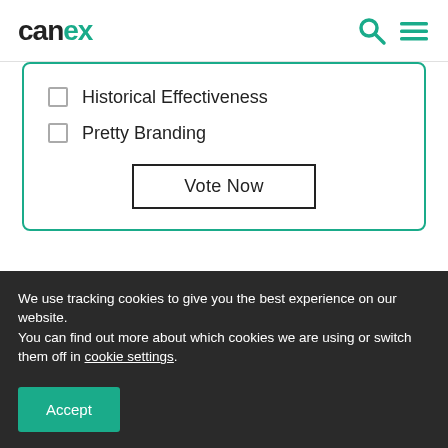canex
Historical Effectiveness
Pretty Branding
Vote Now
Would you like to know the results of our polls? Please complete the data request form by
We use tracking cookies to give you the best experience on our website.
You can find out more about which cookies we are using or switch them off in cookie settings.
Accept